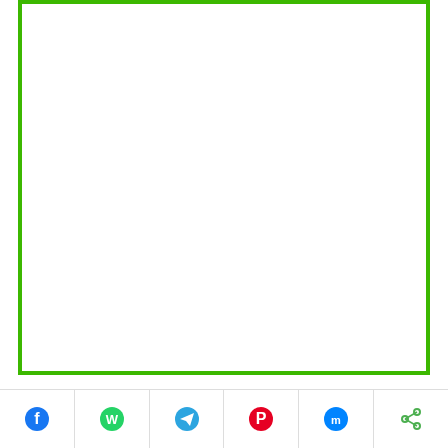[Figure (other): Large empty green-bordered rectangle, likely an advertisement or image placeholder]
Tomorrow draw details
Win Win Lottery W 546 draw on 06.01.2020
@3.00 pm
⇐ HOME
Previous Lottery Results
Kerala Lottery 04-01-2020
Karunya Lottery Result KR-429
Social sharing bar: Facebook, WhatsApp, Telegram, Pinterest, Messenger, Share